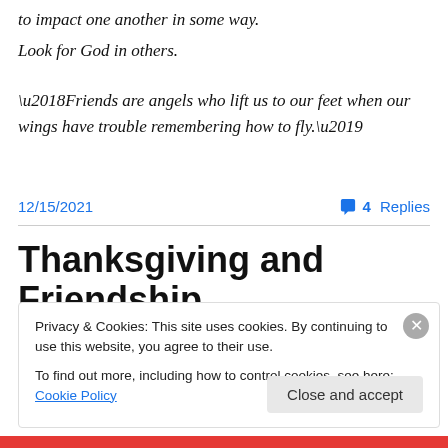to impact one another in some way.
Look for God in others.
‘Friends are angels who lift us to our feet when our wings have trouble remembering how to fly.’
12/15/2021  •  4 Replies
Thanksgiving and Friendship
Privacy & Cookies: This site uses cookies. By continuing to use this website, you agree to their use.
To find out more, including how to control cookies, see here: Cookie Policy